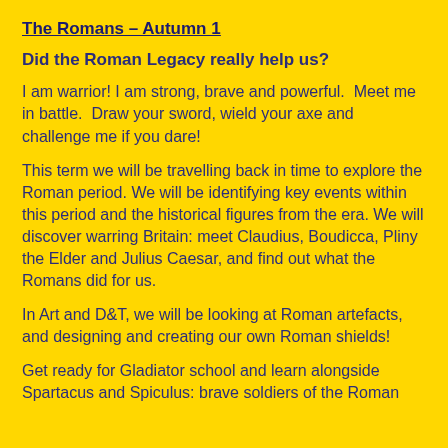The Romans – Autumn 1
Did the Roman Legacy really help us?
I am warrior! I am strong, brave and powerful.  Meet me in battle.  Draw your sword, wield your axe and challenge me if you dare!
This term we will be travelling back in time to explore the Roman period. We will be identifying key events within this period and the historical figures from the era. We will discover warring Britain: meet Claudius, Boudicca, Pliny the Elder and Julius Caesar, and find out what the Romans did for us.
In Art and D&T, we will be looking at Roman artefacts, and designing and creating our own Roman shields!
Get ready for Gladiator school and learn alongside Spartacus and Spiculus: brave soldiers of the Roman